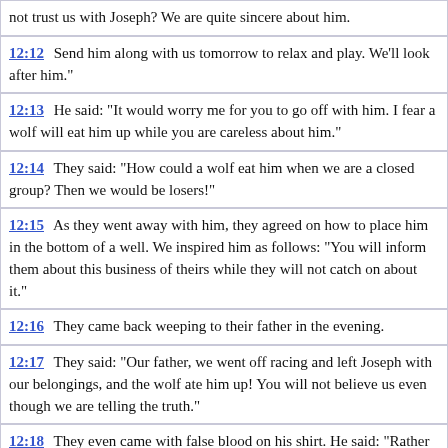not trust us with Joseph? We are quite sincere about him.
12:12  Send him along with us tomorrow to relax and play. We'll look after him."
12:13  He said: "It would worry me for you to go off with him. I fear a wolf will eat him up while you are careless about him."
12:14  They said: "How could a wolf eat him when we are a closed group? Then we would be losers!"
12:15  As they went away with him, they agreed on how to place him in the bottom of a well. We inspired him as follows: "You will inform them about this business of theirs while they will not catch on about it."
12:16  They came back weeping to their father in the evening.
12:17  They said: "Our father, we went off racing and left Joseph with our belongings, and the wolf ate him up! You will not believe us even though we are telling the truth."
12:18  They even came with false blood on his shirt. He said: "Rather you yourselves have been fooled in the matter. Patience is beautiful! Allah (God) is the One to seek help from against what you describe."
12:19  Some travellers came along who sent their waterboy and he let do his own bucket. He said: "What a godsend! This is a